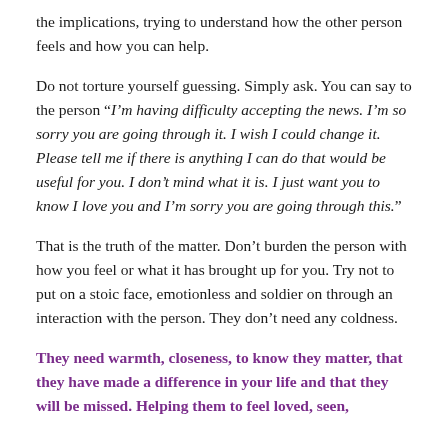the implications, trying to understand how the other person feels and how you can help.
Do not torture yourself guessing. Simply ask. You can say to the person “I’m having difficulty accepting the news. I’m so sorry you are going through it. I wish I could change it. Please tell me if there is anything I can do that would be useful for you. I don’t mind what it is. I just want you to know I love you and I’m sorry you are going through this.”
That is the truth of the matter. Don’t burden the person with how you feel or what it has brought up for you. Try not to put on a stoic face, emotionless and soldier on through an interaction with the person. They don’t need any coldness.
They need warmth, closeness, to know they matter, that they have made a difference in your life and that they will be missed. Helping them to feel loved, seen,